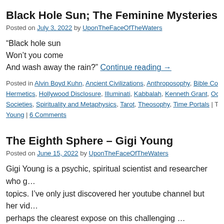Black Hole Sun; The Feminine Mysteries
Posted on July 3, 2022 by UponTheFaceOfTheWaters
“Black hole sun
Won’t you come
And wash away the rain?” Continue reading →
Posted in Alvin Boyd Kuhn, Ancient Civilizations, Anthroposophy, Bible Codes, Hermetics, Hollywood Disclosure, Illuminati, Kabbalah, Kenneth Grant, Occult Societies, Spirituality and Metaphysics, Tarot, Theosophy, Time Portals | Tagg... Young | 6 Comments
The Eighth Sphere – Gigi Young
Posted on June 15, 2022 by UponTheFaceOfTheWaters
Gigi Young is a psychic, spiritual scientist and researcher who g... topics. I’ve only just discovered her youtube channel but her vic... perhaps the clearest expose on this challenging … Continue rea...